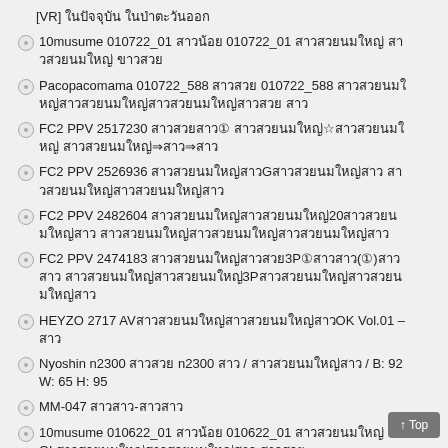[VR] ในปัจจุบัน ในป่าตะวันออก
10musume 010722_01 สาวน้อย 010722_01 สาวสวยนมใหญ่ สาวสวยนมใหญ่ ขาวสวย
Pacopacomama 010722_588 สาวสวย 010722_588 สาวสวยนมใหญ่สาวสวยนมใหญ่สาวสวยนมใหญ่สาวสวย สาว
FC2 PPV 2517230 สาวสวยสาว① สาวสวยนมใหญ่☆สาวสวยนมใหญ่ สาวสวยนมใหญ่⇒สาว⇒สาว
FC2 PPV 2526936 สาวสวยนมใหญ่สาวGสาวสวยนมใหญ่สาว สาวสวยนมใหญ่สาวสวยนมใหญ่สาว
FC2 PPV 2482604 สาวสวยนมใหญ่สาวสวยนมใหญ่20สาวสวยนมใหญ่สาว สาวสวยนมใหญ่สาวสวยนมใหญ่สาวสวยนมใหญ่สาว
FC2 PPV 2474183 สาวสวยนมใหญ่สาวสวย3P①สาวสาว(①)สาวสาว สาวสวยนมใหญ่สาวสวยนมใหญ่3Pสาวสวยนมใหญ่สาวสวยนมใหญ่สาว
HEYZO 2717 AVสาวสวยนมใหญ่สาวสวยนมใหญ่สาวOK Vol.01 – สาว
Nyoshin n2300 สาวสวย n2300 สาว / สาวสวยนมใหญ่สาว / B: 92 W: 65 H: 95
MM-047 สาวสาว-สาวสาว
10musume 010622_01 สาวน้อย 010622_01 สาวสวยนมใหญ่ ①OLสาวสวยนมใหญ่สาวสวยนมใหญ่สาว สาวสวย
H0930 ki220106 สาวสาว0930 สาว สาว 31สาว